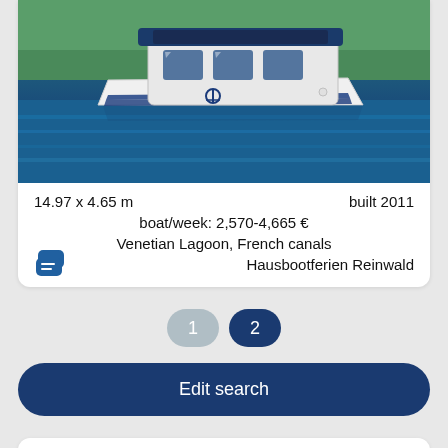[Figure (photo): A white motorboat/houseboat with blue accents on a blue lake with green trees in the background]
14.97 x 4.65 m    built 2011
boat/week: 2,570-4,665 €
Venetian Lagoon, French canals
Hausbootferien Reinwald
1  2
Edit search
Powerboats for rent - other areas